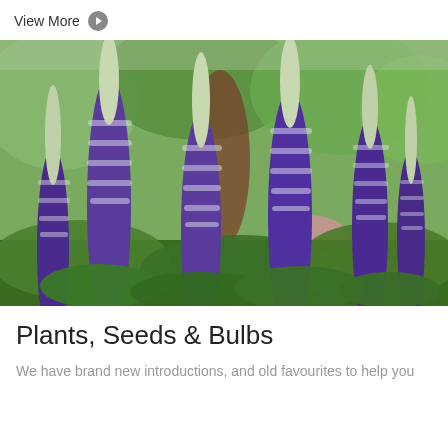View More
[Figure (photo): Photograph of tall purple and white lupin flower spikes in bloom in a garden setting with green foliage and trees in the background]
Plants, Seeds & Bulbs
We have brand new introductions, and old favourites to help you